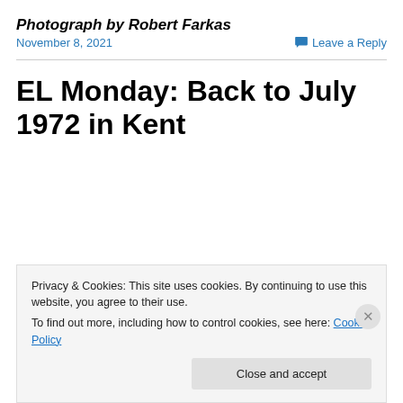Photograph by Robert Farkas
November 8, 2021
Leave a Reply
EL Monday: Back to July 1972 in Kent
Privacy & Cookies: This site uses cookies. By continuing to use this website, you agree to their use.
To find out more, including how to control cookies, see here: Cookie Policy